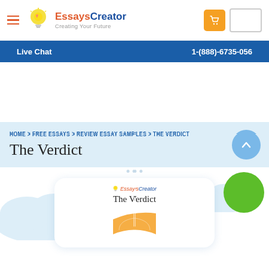EssaysCreator - Creating Your Future
Live Chat   1-(888)-6735-056
HOME > FREE ESSAYS > REVIEW ESSAY SAMPLES > THE VERDICT
The Verdict
[Figure (screenshot): Essay preview card showing EssaysCreator logo and title 'The Verdict' with cloud decorations and an orange book illustration at the bottom]